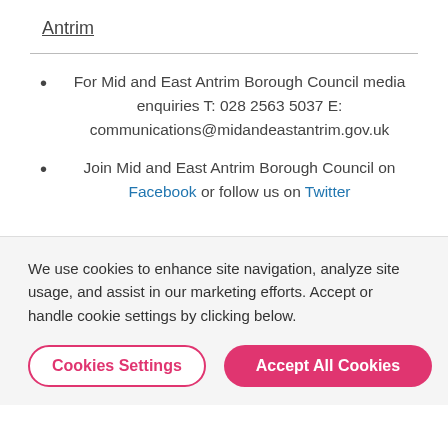Antrim
For Mid and East Antrim Borough Council media enquiries T: 028 2563 5037 E: communications@midandeastantrim.gov.uk
Join Mid and East Antrim Borough Council on Facebook or follow us on Twitter
We use cookies to enhance site navigation, analyze site usage, and assist in our marketing efforts. Accept or handle cookie settings by clicking below.
Cookies Settings | Accept All Cookies